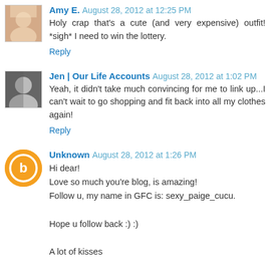Amy E. August 28, 2012 at 12:25 PM
Holy crap that's a cute (and very expensive) outfit! *sigh* I need to win the lottery.
Reply
Jen | Our Life Accounts August 28, 2012 at 1:02 PM
Yeah, it didn't take much convincing for me to link up...I can't wait to go shopping and fit back into all my clothes again!
Reply
Unknown August 28, 2012 at 1:26 PM
Hi dear!
Love so much you're blog, is amazing!
Follow u, my name in GFC is: sexy_paige_cucu.

Hope u follow back :) :)

A lot of kisses